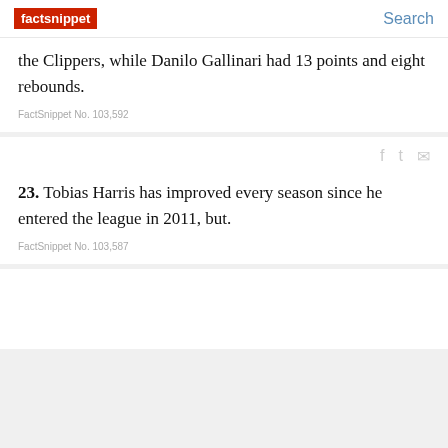factsnippet | Search
the Clippers, while Danilo Gallinari had 13 points and eight rebounds.
FactSnippet No. 103,592
23. Tobias Harris has improved every season since he entered the league in 2011, but.
FactSnippet No. 103,587